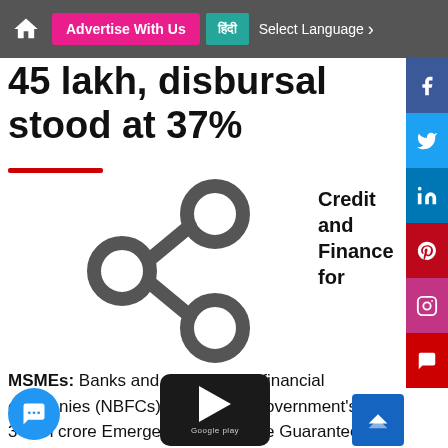Advertise With Us | हिंदी | Select Language
45 lakh, disbursal stood at 37%
[Figure (illustration): Share icon — three connected circles in a triangular arrangement with connecting lines, grey colored]
Credit and Finance for
MSMEs: Banks and non-banking financial companies (NBFCs) under Modi government's Rs 3 lakh crore Emergency Credit Line Guarantee Scheme (ECLGS) has disbursed credit to 24 lakh Covid-hit MSME accounts — 53 per cent of the